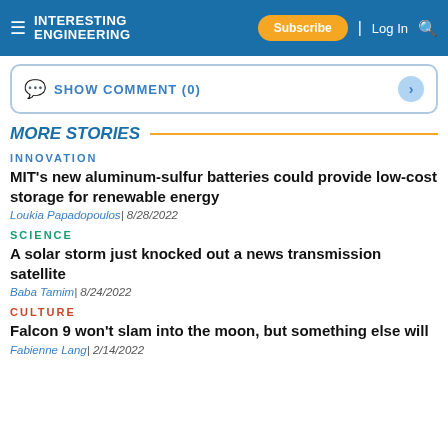INTERESTING ENGINEERING | Subscribe | Log In
SHOW COMMENT (0)
MORE STORIES
INNOVATION
MIT's new aluminum-sulfur batteries could provide low-cost storage for renewable energy
Loukia Papadopoulos| 8/28/2022
SCIENCE
A solar storm just knocked out a news transmission satellite
Baba Tamim| 8/24/2022
CULTURE
Falcon 9 won't slam into the moon, but something else will
Fabienne Lang| 2/14/2022